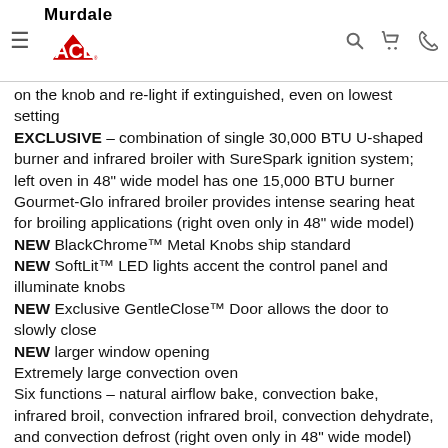Murdale ACE
on the knob and re-light if extinguished, even on lowest setting
EXCLUSIVE – combination of single 30,000 BTU U-shaped burner and infrared broiler with SureSpark ignition system; left oven in 48" wide model has one 15,000 BTU burner
Gourmet-Glo infrared broiler provides intense searing heat for broiling applications (right oven only in 48" wide model)
NEW BlackChrome™ Metal Knobs ship standard
NEW SoftLit™ LED lights accent the control panel and illuminate knobs
NEW Exclusive GentleClose™ Door allows the door to slowly close
NEW larger window opening
Extremely large convection oven
Six functions – natural airflow bake, convection bake, infrared broil, convection infrared broil, convection dehydrate, and convection defrost (right oven only in 48" wide model)
All convection modes utilize the ProFlow™ convection air